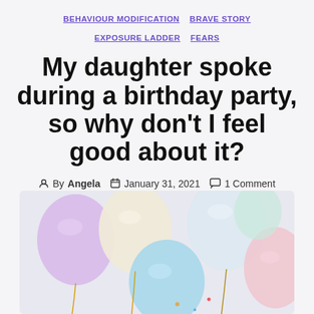BEHAVIOUR MODIFICATION  BRAVE STORY  EXPOSURE LADDER  FEARS
My daughter spoke during a birthday party, so why don't I feel good about it?
By Angela  January 31, 2021  1 Comment
[Figure (photo): Close-up photo of pastel-coloured balloons (lavender, yellow, blue, white, pink, mint) bunched together with ribbons]